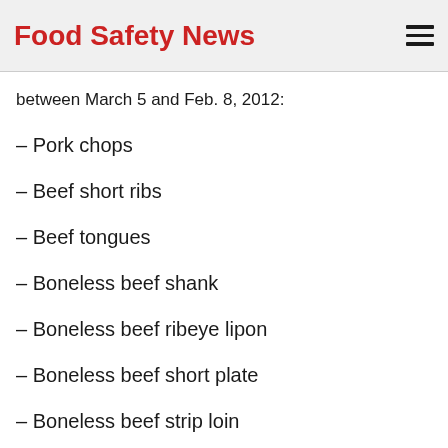Food Safety News
between March 5 and Feb. 8, 2012:
– Pork chops
– Beef short ribs
– Beef tongues
– Boneless beef shank
– Boneless beef ribeye lipon
– Boneless beef short plate
– Boneless beef strip loin